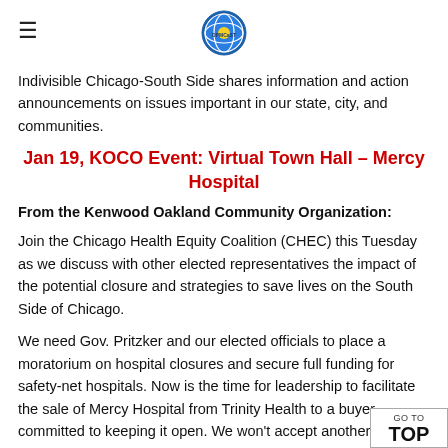≡ [DPMCaST logo]
Indivisible Chicago-South Side shares information and action announcements on issues important in our state, city, and communities.
Jan 19, KOCO Event: Virtual Town Hall – Mercy Hospital
From the Kenwood Oakland Community Organization:
Join the Chicago Health Equity Coalition (CHEC) this Tuesday as we discuss with other elected representatives the impact of the potential closure and strategies to save lives on the South Side of Chicago.
We need Gov. Pritzker and our elected officials to place a moratorium on hospital closures and secure full funding for safety-net hospitals. Now is the time for leadership to facilitate the sale of Mercy Hospital from Trinity Health to a buyer committed to keeping it open. We won't accept another closure.